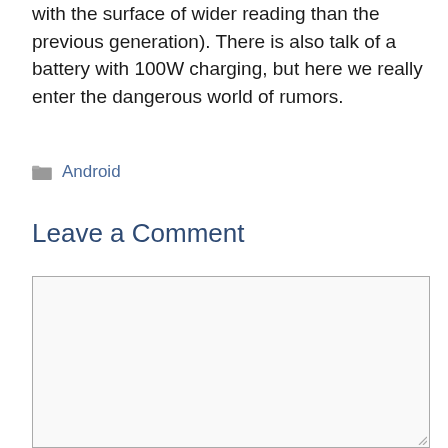with the surface of wider reading than the previous generation). There is also talk of a battery with 100W charging, but here we really enter the dangerous world of rumors.
Android
Leave a Comment
[Figure (other): Empty comment text area input box with light gray background and border]